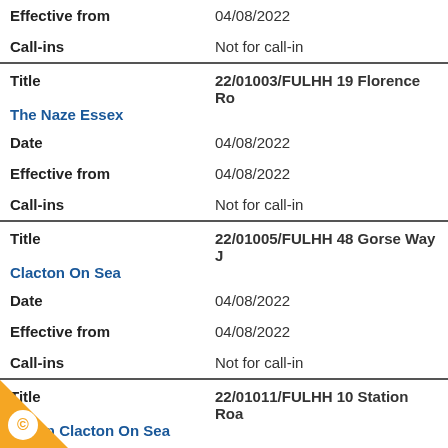| Field | Value |
| --- | --- |
| Effective from | 04/08/2022 |
| Call-ins | Not for call-in |
| Title | 22/01003/FULHH 19 Florence Rd The Naze Essex |
| Date | 04/08/2022 |
| Effective from | 04/08/2022 |
| Call-ins | Not for call-in |
| Title | 22/01005/FULHH 48 Gorse Way Clacton On Sea |
| Date | 04/08/2022 |
| Effective from | 04/08/2022 |
| Call-ins | Not for call-in |
| Title | 22/01011/FULHH 10 Station Road Soken Clacton On Sea |
| Date | 04/08/2022 |
| Effective from | 04/08/2022 |